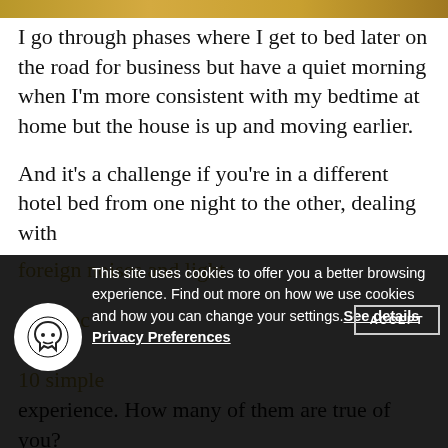[Figure (photo): Partial golden/amber colored banner image at the top of the page]
I go through phases where I get to bed later on the road for business but have a quiet morning when I'm more consistent with my bedtime at home but the house is up and moving earlier.
And it's a challenge if you're in a different hotel bed from one night to the other, dealing with foreign noises and light.
As a face... And whoever who had a knack at stealing precious sleep hours... these 10 simple... a good night of sleep come from a doctorate-level of personal experience. How many of them are true of you?
This site uses cookies to offer you a better browsing experience. Find out more on how we use cookies and how you can change your settings. See details Privacy Preferences